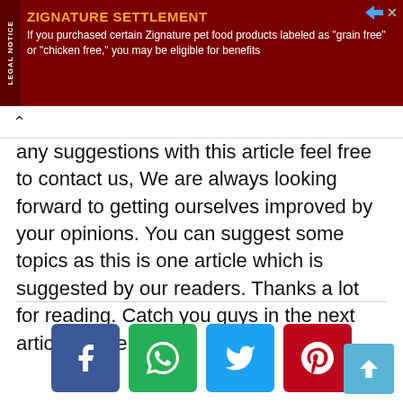[Figure (other): Legal notice advertisement banner for Zignature Settlement: 'ZIGNATURE SETTLEMENT — If you purchased certain Zignature pet food products labeled as "grain free" or "chicken free," you may be eligible for benefits']
any suggestions with this article feel free to contact us, We are always looking forward to getting ourselves improved by your opinions. You can suggest some topics as this is one article which is suggested by our readers. Thanks a lot for reading. Catch you guys in the next article. Cheers!
[Figure (other): Social share buttons row: Facebook (blue), WhatsApp (green), Twitter (cyan), Pinterest (red)]